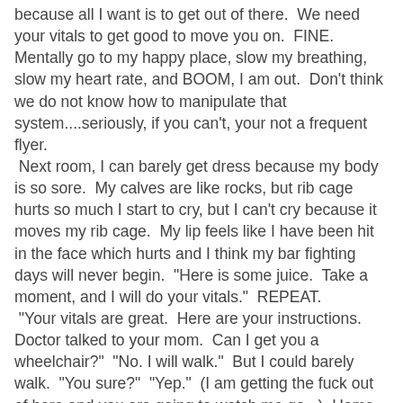because all I want is to get out of there.  We need your vitals to get good to move you on.  FINE.  Mentally go to my happy place, slow my breathing, slow my heart rate, and BOOM, I am out.  Don't think we do not know how to manipulate that system....seriously, if you can't, your not a frequent flyer.  Next room, I can barely get dress because my body is so sore.  My calves are like rocks, but rib cage hurts so much I start to cry, but I can't cry because it moves my rib cage.  My lip feels like I have been hit in the face which hurts and I think my bar fighting days will never begin.  "Here is some juice.  Take a moment, and I will do your vitals."  REPEAT.  "Your vitals are great.  Here are your instructions.  Doctor talked to your mom.  Can I get you a wheelchair?"  "No. I will walk."  But I could barely walk.  "You sure?"  "Yep."  (I am getting the fuck out of here and you are going to watch me go...)  Home.  Can't eat.  Throat closes up.  Can't cough that is a pain of 9.  Look in my papers for pain med options.  NONE.  No pills tonight.  Grant is coaching Mason tonight.  Dawn has Nolan and her son at Flag Football.  Nolan gets home.  He tries to get me to eat jello.  I can't.  I am just in a ball on the bed, so he reads to me and I calm down.  Grant brings me a milk shake.  I get 1/4 of it down and I fall asleep.